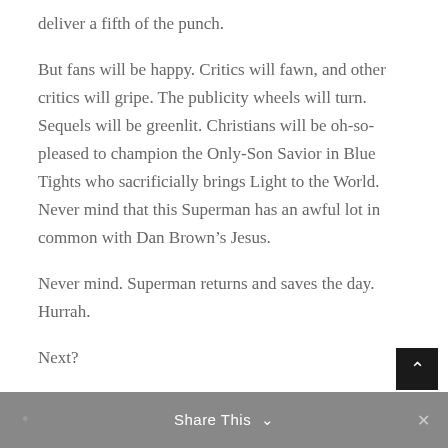deliver a fifth of the punch.
But fans will be happy. Critics will fawn, and other critics will gripe. The publicity wheels will turn. Sequels will be greenlit. Christians will be oh-so-pleased to champion the Only-Son Savior in Blue Tights who sacrificially brings Light to the World. Never mind that this Superman has an awful lot in common with Dan Brown’s Jesus.
Never mind. Superman returns and saves the day. Hurrah.
Next?
Share This ∨